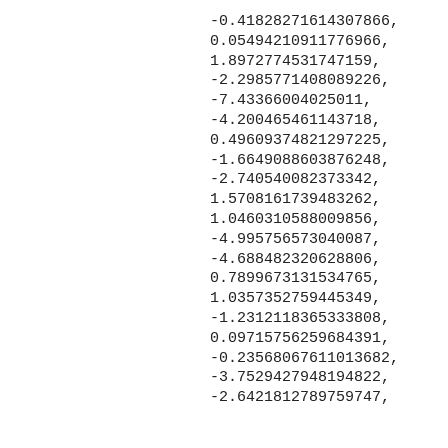-0.41828271614307866,
0.05494210911776966,
1.8972774531747159,
-2.2985771408089226,
-7.43366004025011,
-4.200465461143718,
0.4960937482129722​5,
-1.6649088603876248,
-2.740540082373342,
1.5708161739483262,
1.0460310588009856,
-4.995756573040087,
-4.688482320628806,
0.7899673131534765,
1.0357352759445349,
-1.2312118365333808,
0.09715756259684391,
-0.23568067611013682,
-3.7529427948194822,
-2.6421812789759747,